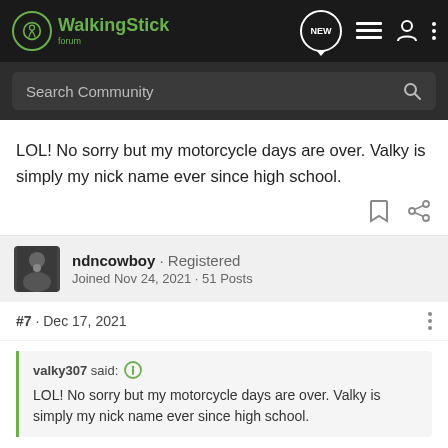WalkingStick Forum
LOL! No sorry but my motorcycle days are over. Valky is simply my nick name ever since high school.
ndncowboy · Registered
Joined Nov 24, 2021 · 51 Posts
#7 · Dec 17, 2021
valky307 said:
LOL! No sorry but my motorcycle days are over. Valky is simply my nick name ever since high school.